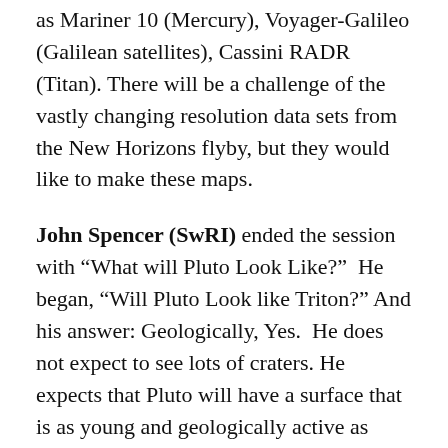as Mariner 10 (Mercury), Voyager-Galileo (Galilean satellites), Cassini RADR (Titan). There will be a challenge of the vastly changing resolution data sets from the New Horizons flyby, but they would like to make these maps.
John Spencer (SwRI) ended the session with "What will Pluto Look Like?"  He began, "Will Pluto Look like Triton?" And his answer: Geologically, Yes.  He does not expect to see lots of craters. He expects that Pluto will have a surface that is as young and geologically active as Triton's. One of the surprising thing about Triton's surface is that it is lightly cratered. Are we seeing a situation where Triton had been completely resurfaced a lot since its capture by Neptune? And this should be an opportunity...